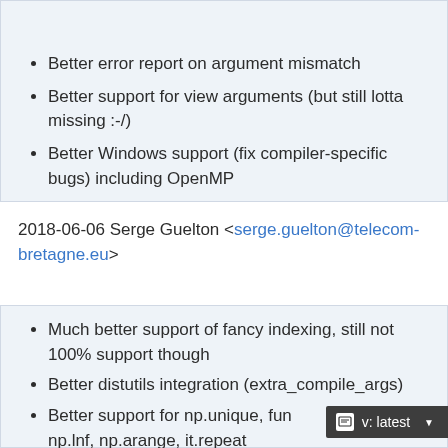Better error report on argument mismatch
Better support for view arguments (but still lotta missing :-/)
Better Windows support (fix compiler-specific bugs) including OpenMP
2018-06-06 Serge Guelton <serge.guelton@telecom-bretagne.eu>
Much better support of fancy indexing, still not 100% support though
Better distutils integration (extra_compile_args)
Better support for np.unique, fun np.lnf, np.arange, it.repeat
Better support of user import from pythranized module (still no globals)